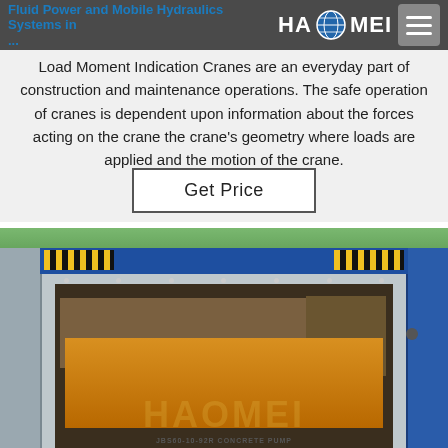Fluid Power and Mobile Hydraulics Systems in ...
Load Moment Indication Cranes are an everyday part of construction and maintenance operations. The safe operation of cranes is dependent upon information about the forces acting on the crane the crane's geometry where loads are applied and the motion of the crane.
Get Price
[Figure (photo): A shipping container open at the front, with a blue top bar featuring yellow and black hazard stripes. Inside the container, yellow/orange machinery or equipment is visible, with a large Haomei logo watermark. Green trees visible in background at top right.]